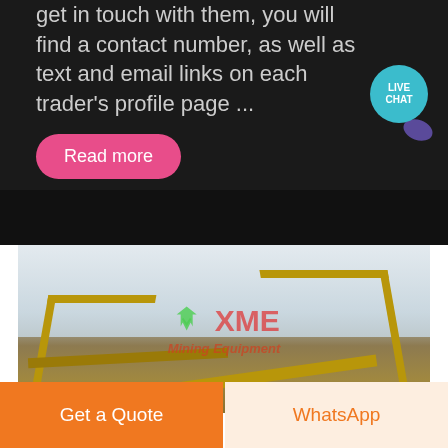get in touch with them, you will find a contact number, as well as text and email links on each trader's profile page ...
Read more
[Figure (photo): Industrial mining/crushing equipment - large yellow conveyor belt cranes and machinery against a cloudy sky. XME Mining Equipment watermark overlay in green and red.]
Get a Quote
WhatsApp